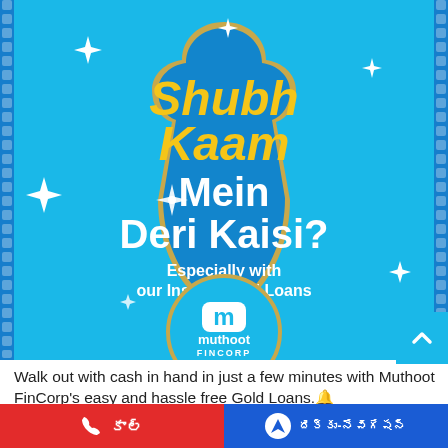[Figure (illustration): Muthoot FinCorp advertisement with bright blue background, decorative Mughal arch/shield shape in blue with gold border, sparkle stars, bold text 'Shubh Kaam Mein Deri Kaisi?' in gold and white, subtitle 'Especially with our Instant Gold Loans', and Muthoot FinCorp logo in a gold-bordered circle. Blue dotted border on left and right edges.]
Walk out with cash in hand in just a few minutes with Muthoot FinCorp's easy and hassle free Gold Loans.🔔
📞 కాల్  |  🔷 దిక్కు-నేవిగేషన్